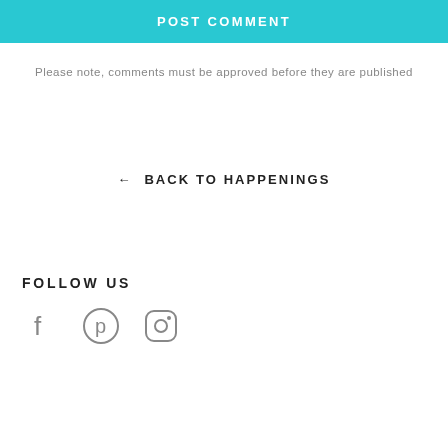POST COMMENT
Please note, comments must be approved before they are published
← BACK TO HAPPENINGS
FOLLOW US
[Figure (illustration): Social media icons: Facebook, Pinterest, Instagram]